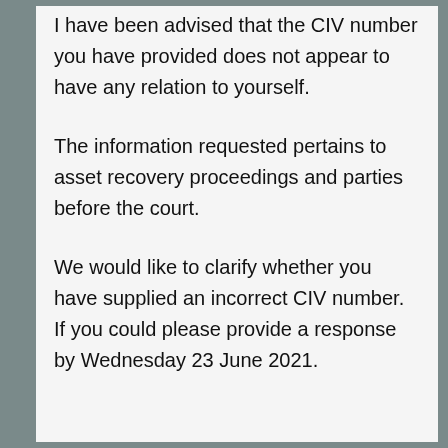I have been advised that the CIV number you have provided does not appear to have any relation to yourself.
The information requested pertains to asset recovery proceedings and parties before the court.
We would like to clarify whether you have supplied an incorrect CIV number. If you could please provide a response by Wednesday 23 June 2021.